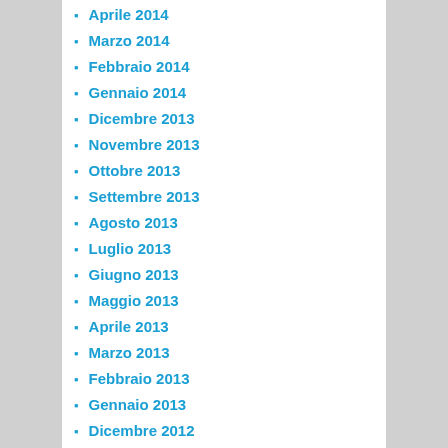Aprile 2014
Marzo 2014
Febbraio 2014
Gennaio 2014
Dicembre 2013
Novembre 2013
Ottobre 2013
Settembre 2013
Agosto 2013
Luglio 2013
Giugno 2013
Maggio 2013
Aprile 2013
Marzo 2013
Febbraio 2013
Gennaio 2013
Dicembre 2012
Novembre 2012
Ottobre 2012
Settembre 2012
Agosto 2012
Luglio 2012